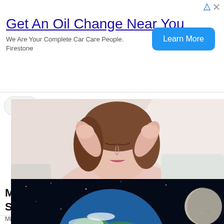[Figure (infographic): Advertisement banner: Get An Oil Change Near You - We Are Your Complete Car Care People. Firestone, with a Learn More button]
[Figure (photo): Woman with eyes closed, hands on temples, appearing to have a headache or migraine]
Medications To Help Effectively Reduce Symptoms Of Migraines
Migraine Medication | Search Ads | Sponsored
[Figure (photo): Earth and moon seen from space against a dark starry background]